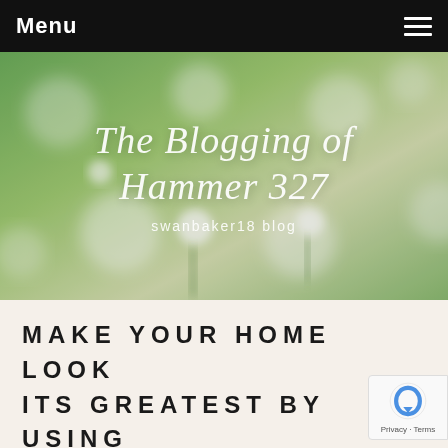Menu
[Figure (photo): Blurred floral background with white flowers and green foliage, showing blog header 'The Blogging of Hammer 327' in cursive script with subtitle 'swanbaker18 blog']
The Blogging of Hammer 327
swanbaker18 blog
MAKE YOUR HOME LOOK ITS GREATEST BY USING THIS RECOMMENDATION
December 22, 2019